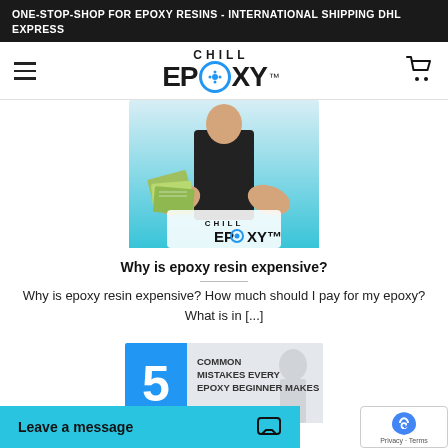ONE-STOP-SHOP FOR EPOXY RESINS - INTERNATIONAL SHIPPING DHL EXPRESS
[Figure (logo): Chill Epoxy logo with circular blue snowflake icon]
[Figure (photo): Person in black hoodie holding fanned US dollar bills against teal background]
Why is epoxy resin expensive?
Why is epoxy resin expensive? How much should I pay for my epoxy? What is in [...]
[Figure (infographic): 5 Common Mistakes Every Epoxy Beginner Makes promotional graphic with large blue number 5]
Leave a message